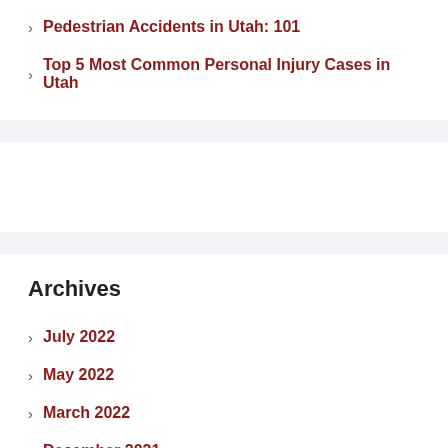Pedestrian Accidents in Utah: 101
Top 5 Most Common Personal Injury Cases in Utah
Archives
July 2022
May 2022
March 2022
December 2021
November 2021